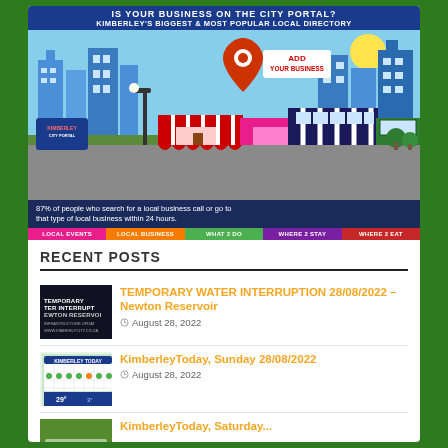[Figure (infographic): Kimberley City Portal advertisement banner featuring a city illustration with map pin and 'ADD YOUR BUSINESS' text. Shows colorful storefronts, skyline, and statistic: 87% of people who search for a local business call or go to that type of local business within 24 hours. Bottom nav bar with LOCAL EVENTS, LOCAL BUSINESS, WHAT 2 DO, WHERE 2 STAY, WHERE 2 EAT.]
RECENT POSTS
[Figure (photo): Thumbnail image with dark background showing text: TEMPORARY TER INTERRUPT, EWTON RESERVOI, INFRASTRUCTURE UPDAT, WWW.KIMBERLYCITY.CO.ZA]
TEMPORARY WATER INTERRUPTION 28/08/2022 – Newton Reservoir
August 28, 2022
[Figure (photo): Thumbnail image showing a calendar/schedule with temperature reading 29° and 3°]
KimberleyToday, Sunday 28/08/2022
August 28, 2022
KimberleyToday, Saturday...